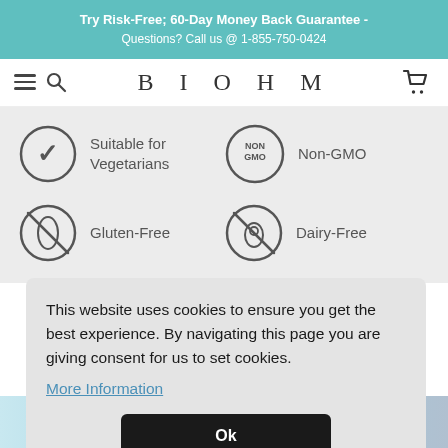Try Risk-Free; 60-Day Money Back Guarantee - Questions? Call us @ 1-855-750-0424
[Figure (screenshot): BIOHM website navigation bar with hamburger menu, search icon, BIOHM logo, and shopping cart icon]
[Figure (infographic): Product feature icons: Suitable for Vegetarians (V in circle), Non-GMO (NON GMO badge), Gluten-Free (wheat crossed out), Dairy-Free (egg crossed out)]
This website uses cookies to ensure you get the best experience. By navigating this page you are giving consent for us to set cookies.
More Information
Ok